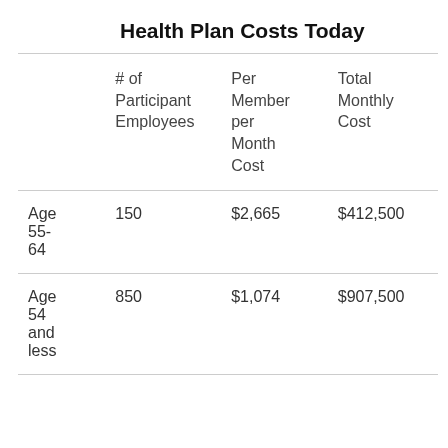Health Plan Costs Today
|  | # of Participant Employees | Per Member per Month Cost | Total Monthly Cost |
| --- | --- | --- | --- |
| Age 55-64 | 150 | $2,665 | $412,500 |
| Age 54 and less | 850 | $1,074 | $907,500 |